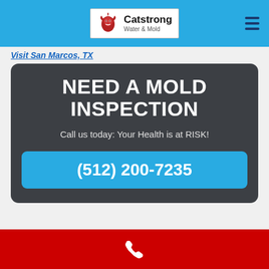[Figure (logo): Catstrong Water & Mold logo with lion icon in white box]
Visit San Marcos, TX
NEED A MOLD INSPECTION
Call us today: Your Health is at RISK!
(512) 200-7235
Why Choose Us?
Very Experience
Open 24 Hours Every day
[Figure (illustration): White phone icon on red background bar at bottom]